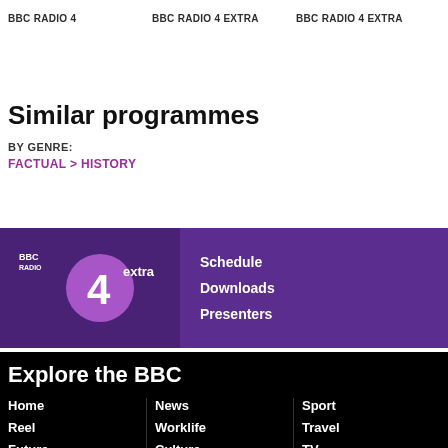BBC RADIO 4   BBC RADIO 4 EXTRA   BBC RADIO 4 EXTRA
Similar programmes
BY GENRE:
FACTUAL > HISTORY
[Figure (logo): BBC Radio 4 Extra logo - purple background with circle 4 extra branding]
Schedule
Downloads
Presenters
Explore the BBC
Home
News
Sport
Reel
Worklife
Travel
Future
Culture
TV
Weather
Sounds